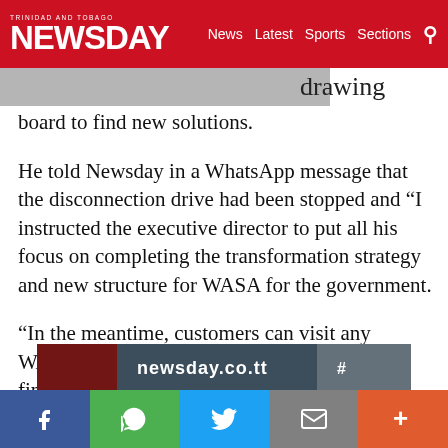TRINIDAD AND TOBAGO NEWSDAY — News  Latest  Sports  Sections
drawing board to find new solutions.
He told Newsday in a WhatsApp message that the disconnection drive had been stopped and “I instructed the executive director to put all his focus on completing the transformation strategy and new structure for WASA for the government.
“In the meantime, customers can visit any WASA service centre or online to settle their financial commitments with the authority.”
[Figure (photo): Partial image strip at bottom showing a photo with newsday.co.tt text overlay]
Social sharing bar: Facebook, WhatsApp, Twitter, Email, More